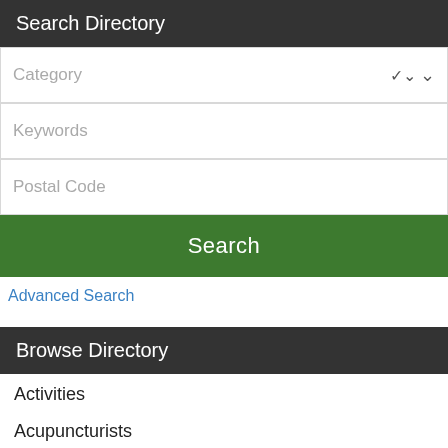Search Directory
Category
Keywords
Postal Code
Search
Advanced Search
Browse Directory
Activities
Acupuncturists
Addiction Treatment
Adult Foster Care
Advertiser Partners